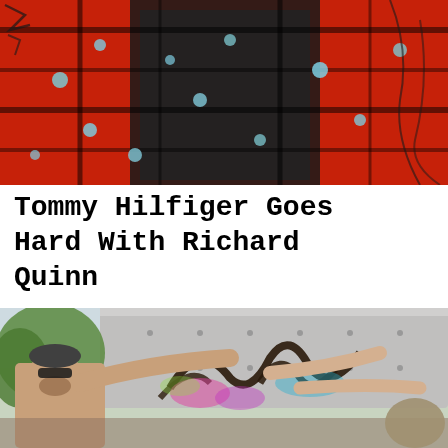[Figure (photo): Close-up photo of a dark sequined/embellished garment with red and black plaid pattern, with light blue floral accents, against a red artistic background with black graphic lines]
Tommy Hilfiger Goes Hard With Richard Quinn
[Figure (photo): Outdoor photo of a shirtless man with a beard and cap, working with another person to apply graffiti art featuring colorful spray paint and dark swirling designs onto the side of a silver trailer or vehicle]